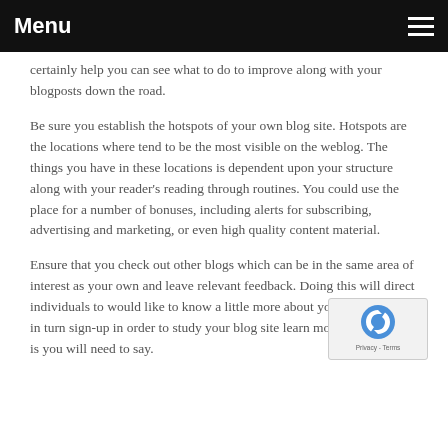Menu
certainly help you can see what to do to improve along with your blogposts down the road.
Be sure you establish the hotspots of your own blog site. Hotspots are the locations where tend to be the most visible on the weblog. The things you have in these locations is dependent upon your structure along with your reader's reading through routines. You could use the place for a number of bonuses, including alerts for subscribing, advertising and marketing, or even high quality content material.
Ensure that you check out other blogs which can be in the same area of interest as your own and leave relevant feedback. Doing this will direct individuals to would like to know a little more about you and the will in turn sign-up in order to study your blog site learn more about what it is you will need to say.